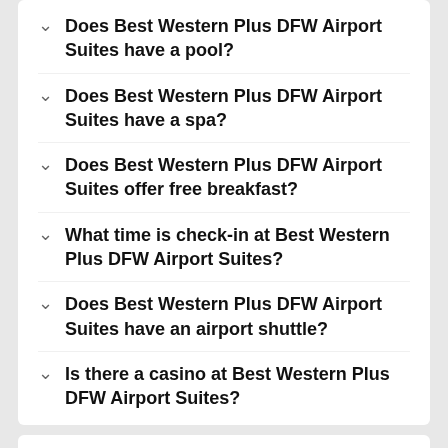Does Best Western Plus DFW Airport Suites have a pool?
Does Best Western Plus DFW Airport Suites have a spa?
Does Best Western Plus DFW Airport Suites offer free breakfast?
What time is check-in at Best Western Plus DFW Airport Suites?
Does Best Western Plus DFW Airport Suites have an airport shuttle?
Is there a casino at Best Western Plus DFW Airport Suites?
Most Popular
Hotels